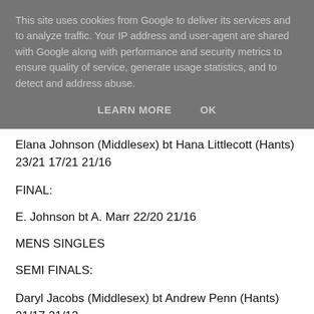This site uses cookies from Google to deliver its services and to analyze traffic. Your IP address and user-agent are shared with Google along with performance and security metrics to ensure quality of service, generate usage statistics, and to detect and address abuse.
LEARN MORE   OK
Elana Johnson (Middlesex) bt Hana Littlecott (Hants) 23/21 17/21 21/16
FINAL:
E. Johnson bt A. Marr 22/20 21/16
MENS SINGLES
SEMI FINALS:
Daryl Jacobs (Middlesex) bt Andrew Penn (Hants) 21/17 21/12